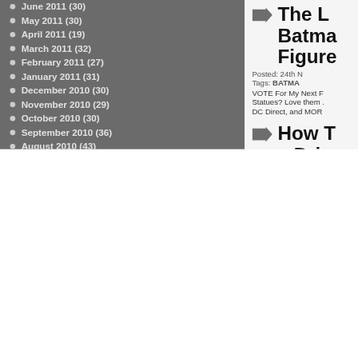June 2011 (30)
May 2011 (30)
April 2011 (19)
March 2011 (32)
February 2011 (27)
January 2011 (31)
December 2010 (30)
November 2010 (29)
October 2010 (30)
September 2010 (36)
August 2010 (43)
TAG CLOUD
SpiderMan BATMAN Official Hulk Earths tribute Review video Marvel...and Universe Part CRISIS FIRST 2010 ComicCon CAPCOM GREEN Online Marvel League Wolverine Avengers Xbox Super Animated Tech Parody Thor Music Heroes Figure Justice Superman Lantern Dark Episode Season Iron Comics Trailer Kayjay Comic series
[Figure (other): Arrow icon pointing right]
The L Batman Figure
Posted: 24th N
Tags: BATMA
VOTE For My Next F Statues? Love them . DC Direct, and MORE
[Figure (other): Arrow icon pointing right]
How T a Driv
Posted: 18th N
Tags: BATMA
Subscribe! Rate! Frie multiple strenuous st fast food restaurant